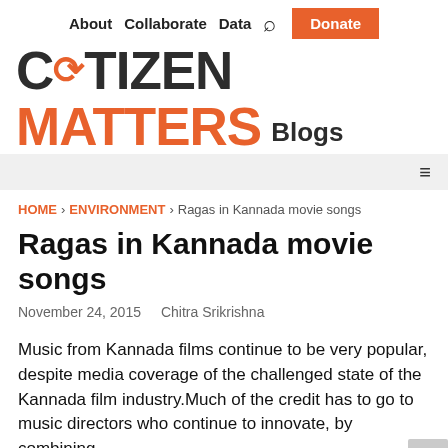About   Collaborate   Data   🔍   Donate
[Figure (logo): Citizen Matters Blogs logo with stylized C and orange accent]
≡ (hamburger menu)
HOME › ENVIRONMENT › Ragas in Kannada movie songs
Ragas in Kannada movie songs
November 24, 2015   Chitra Srikrishna
Music from Kannada films continue to be very popular, despite media coverage of the challenged state of the Kannada film industry.Much of the credit has to go to music directors who continue to innovate, by combining